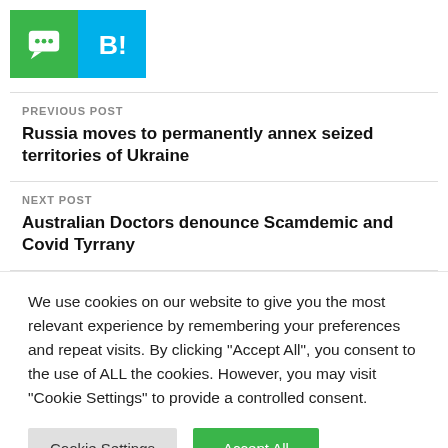[Figure (other): Two social sharing icon buttons: green SMS/message bubble icon and blue B! bookmark icon]
PREVIOUS POST
Russia moves to permanently annex seized territories of Ukraine
NEXT POST
Australian Doctors denounce Scamdemic and Covid Tyrrany
We use cookies on our website to give you the most relevant experience by remembering your preferences and repeat visits. By clicking "Accept All", you consent to the use of ALL the cookies. However, you may visit "Cookie Settings" to provide a controlled consent.